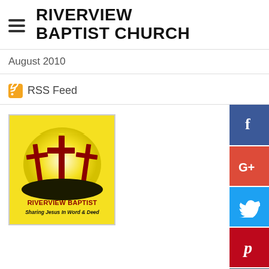RIVERVIEW BAPTIST CHURCH
August 2010
RSS Feed
[Figure (logo): Riverview Baptist Church logo: three crosses on a hill against a yellow/green glowing background, with text 'RIVERVIEW BAPTIST' and 'Sharing Jesus In Word & Deed']